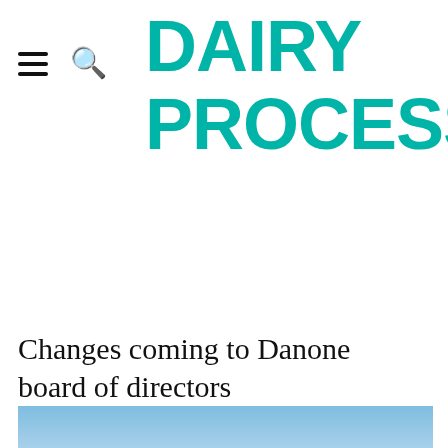DAIRY PROCESSING
Changes coming to Danone board of directors
[Figure (photo): Partial photo of a building or structure against a blue sky, shown at the bottom of the page.]